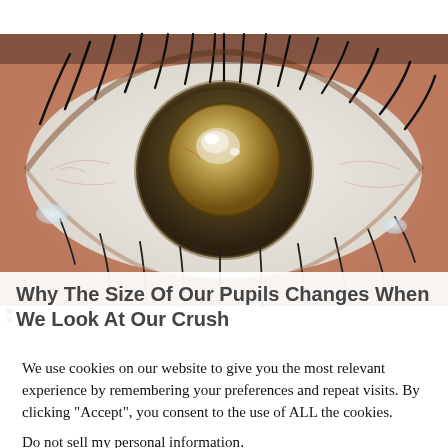[Figure (photo): Close-up photograph of a human eye with a cloudy, yellowish pupil suggesting a cataract. The iris is dark brown and the eye shows eyelashes at top and bottom.]
Why The Size Of Our Pupils Changes When We Look At Our Crush
We use cookies on our website to give you the most relevant experience by remembering your preferences and repeat visits. By clicking “Accept”, you consent to the use of ALL the cookies.
Do not sell my personal information.
Cookie settings   ACCEPT